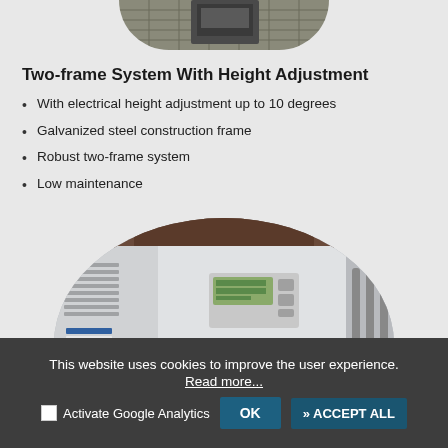[Figure (photo): Top portion of industrial machinery, partially cropped, showing equipment on a metal mesh/grated surface, visible at top of page in circular crop.]
Two-frame System With Height Adjustment
With electrical height adjustment up to 10 degrees
Galvanized steel construction frame
Robust two-frame system
Low maintenance
[Figure (photo): Circular-cropped photo of an industrial control panel/electrical cabinet with a digital display, control switches, green and red indicator buttons, and mounted on white panel. Additional machinery visible to the right.]
This website uses cookies to improve the user experience.
Read more...
Activate Google Analytics
OK
» ACCEPT ALL